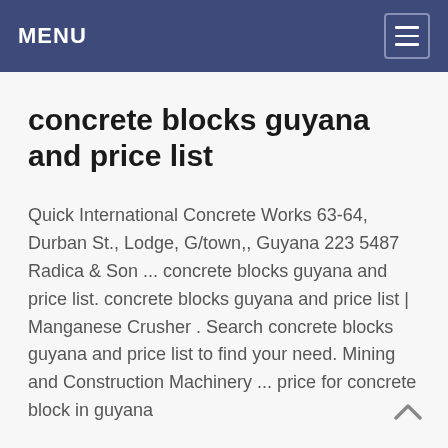MENU
concrete blocks guyana and price list
Quick International Concrete Works 63-64, Durban St., Lodge, G/town,, Guyana 223 5487 Radica & Son ... concrete blocks guyana and price list. concrete blocks guyana and price list | Manganese Crusher . Search concrete blocks guyana and price list to find your need. Mining and Construction Machinery ... price for concrete block in guyana